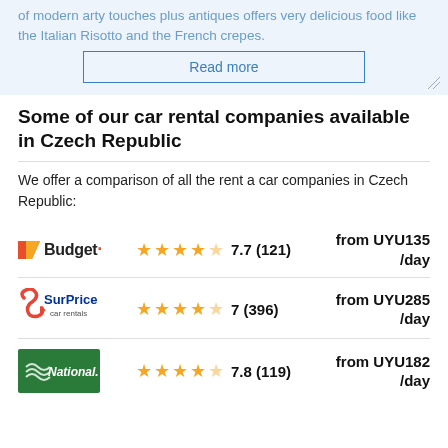of modern arty touches plus antiques offers very delicious food like the Italian Risotto and the French crepes.
Read more
Some of our car rental companies available in Czech Republic
We offer a comparison of all the rent a car companies in Czech Republic:
| Company | Rating | Price |
| --- | --- | --- |
| Budget | 7.7 (121) | from UYU135 /day |
| SurPrice car rentals | 7 (396) | from UYU285 /day |
| National | 7.8 (119) | from UYU182 /day |